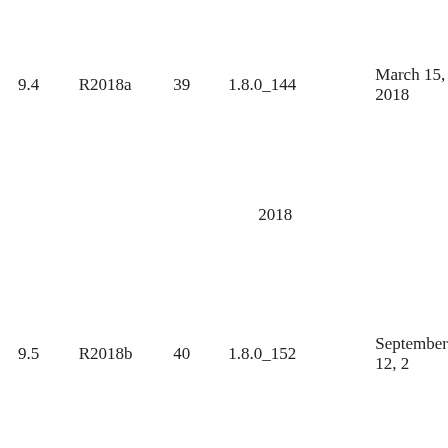| 9.4 | R2018a | 39 | 1.8.0_144 | March 15, 2018 |
|  |  |  | 2018 |  |
| 9.5 | R2018b | 40 | 1.8.0_152 | September 12, 2... |